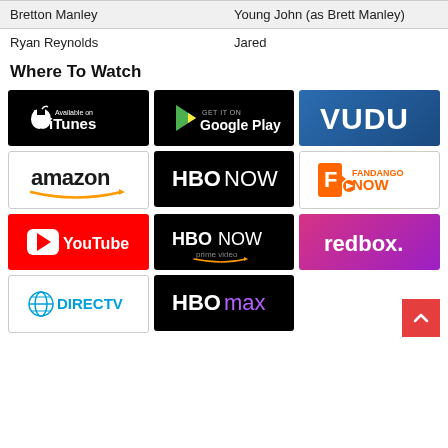| Actor | Role |
| --- | --- |
| Bretton Manley | Young John (as Brett Manley) |
| Ryan Reynolds | Jared |
Where To Watch
[Figure (logo): iTunes logo - Available on iTunes]
[Figure (logo): Google Play - Get It On Google Play]
[Figure (logo): VUDU logo]
[Figure (logo): Amazon logo]
[Figure (logo): HBO NOW logo]
[Figure (logo): Fandango NOW logo]
[Figure (logo): YouTube logo]
[Figure (logo): HBO NOW prime video logo]
[Figure (logo): redbox logo]
[Figure (logo): DIRECTV logo]
[Figure (logo): HBO max logo]